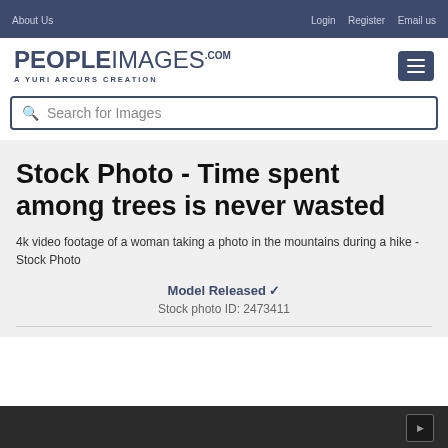About Us | Login  Register  Email us
[Figure (logo): PEOPLEIMAGES.COM logo with tagline A YURI ARCURS CREATION and hamburger menu button]
Search for Images
Stock Photo - Time spent among trees is never wasted
4k video footage of a woman taking a photo in the mountains during a hike - Stock Photo
Model Released ✓
Stock photo ID: 2473411
[Figure (photo): Dark bottom strip representing a photo/video preview area]